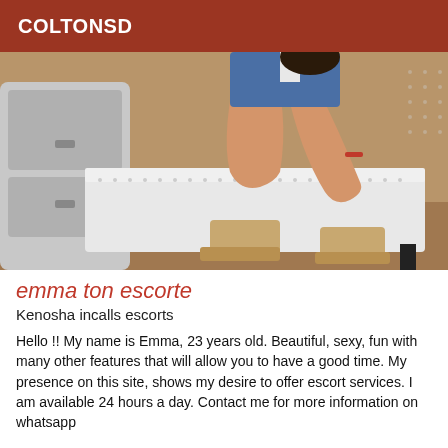COLTONSD
[Figure (photo): Woman sitting on a white tufted bench wearing denim shorts, white top, and tan platform boots, with a silver dresser visible to the left]
emma ton escorte
Kenosha incalls escorts
Hello !! My name is Emma, 23 years old. Beautiful, sexy, fun with many other features that will allow you to have a good time. My presence on this site, shows my desire to offer escort services. I am available 24 hours a day. Contact me for more information on whatsapp